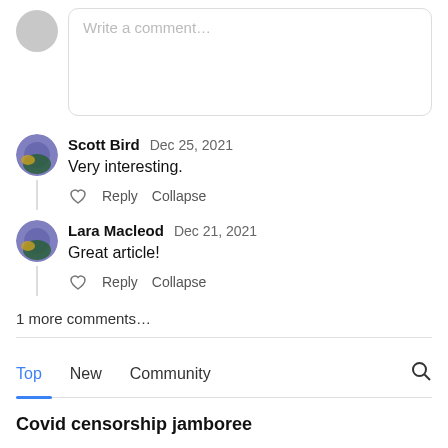Write a comment…
Scott Bird  Dec 25, 2021
Very interesting.
♡  Reply  Collapse
Lara Macleod  Dec 21, 2021
Great article!
♡  Reply  Collapse
1 more comments…
Top  New  Community
Covid censorship jamboree